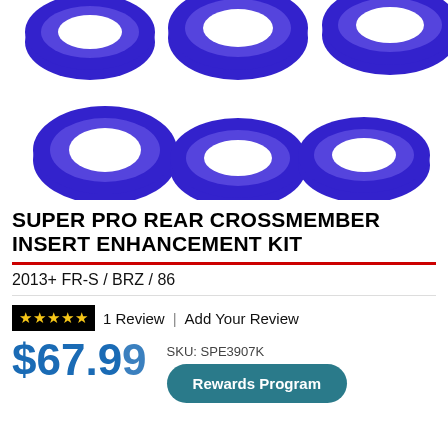[Figure (photo): Multiple blue polyurethane ring/bushing inserts arranged on a white background, product photo for Super Pro Rear Crossmember Insert Enhancement Kit]
SUPER PRO REAR CROSSMEMBER INSERT ENHANCEMENT KIT
2013+ FR-S / BRZ / 86
★★★★★  1 Review  |  Add Your Review
$67.99  SKU: SPE3907K
Rewards Program